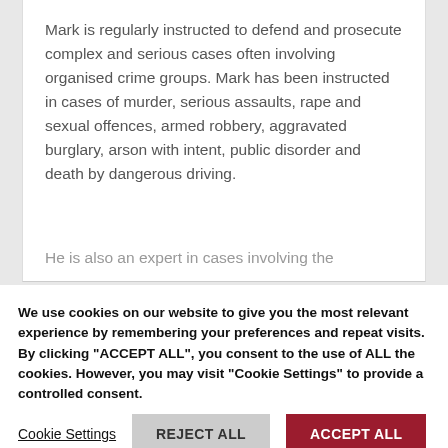Mark is regularly instructed to defend and prosecute complex and serious cases often involving organised crime groups. Mark has been instructed in cases of murder, serious assaults, rape and sexual offences, armed robbery, aggravated burglary, arson with intent, public disorder and death by dangerous driving.
He is also an expert in cases involving the
We use cookies on our website to give you the most relevant experience by remembering your preferences and repeat visits. By clicking "ACCEPT ALL", you consent to the use of ALL the cookies. However, you may visit "Cookie Settings" to provide a controlled consent.